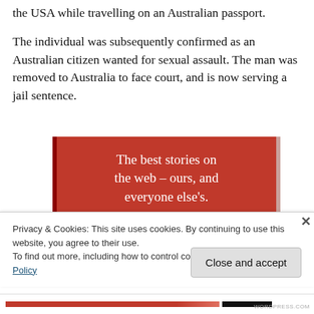the USA while travelling on an Australian passport.
The individual was subsequently confirmed as an Australian citizen wanted for sexual assault. The man was removed to Australia to face court, and is now serving a jail sentence.
[Figure (other): Advertisement banner with red background reading 'The best stories on the web – ours, and everyone else's.' with a 'Start reading' button]
Privacy & Cookies: This site uses cookies. By continuing to use this website, you agree to their use.
To find out more, including how to control cookies, see here: Cookie Policy
Close and accept